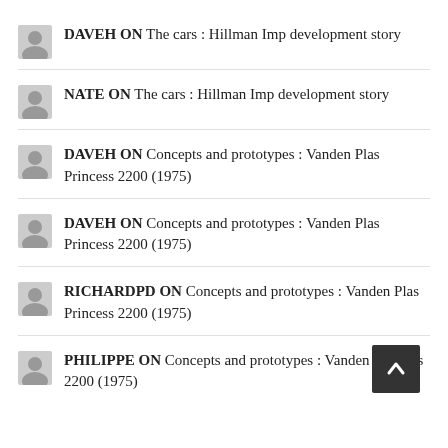DAVEH ON The cars : Hillman Imp development story
NATE ON The cars : Hillman Imp development story
DAVEH ON Concepts and prototypes : Vanden Plas Princess 2200 (1975)
DAVEH ON Concepts and prototypes : Vanden Plas Princess 2200 (1975)
RICHARDPD ON Concepts and prototypes : Vanden Plas Princess 2200 (1975)
PHILIPPE ON Concepts and prototypes : Vanden Princess 2200 (1975)